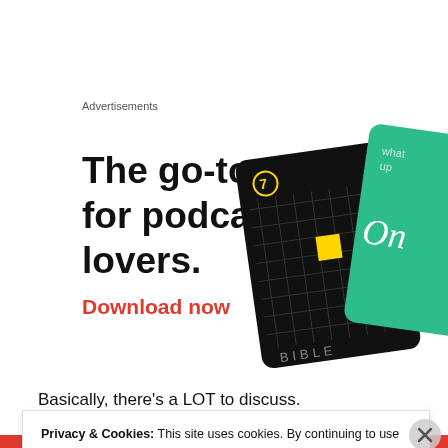Advertisements
[Figure (illustration): Advertisement for a podcast app showing bold text 'The go-to app for podcast lovers.' with red 'Download now' call to action and two overlapping cards (black grid card and green card) on the right side.]
Basically, there’s a LOT to discuss.
Privacy & Cookies: This site uses cookies. By continuing to use this website, you agree to their use.
To find out more, including how to control cookies, see here: Cookie Policy
Close and accept